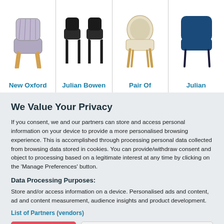[Figure (screenshot): Product strip showing four chairs: New Oxford, Julian Bowen, Pair Of, Julian (partially visible)]
We Value Your Privacy
If you consent, we and our partners can store and access personal information on your device to provide a more personalised browsing experience. This is accomplished through processing personal data collected from browsing data stored in cookies. You can provide/withdraw consent and object to processing based on a legitimate interest at any time by clicking on the 'Manage Preferences' button.
Data Processing Purposes:
Store and/or access information on a device. Personalised ads and content, ad and content measurement, audience insights and product development.
List of Partners (vendors)
Accept
Manage your privacy settings